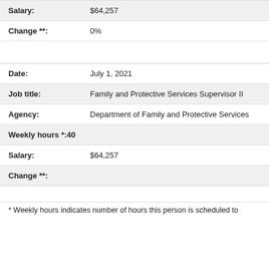| Field | Value |
| --- | --- |
| Salary: | $64,257 |
| Change **: | 0% |
| Date: | July 1, 2021 |
| Job title: | Family and Protective Services Supervisor II |
| Agency: | Department of Family and Protective Services |
| Weekly hours *: | 40 |
| Salary: | $64,257 |
| Change **: |  |
* Weekly hours indicates number of hours this person is scheduled to